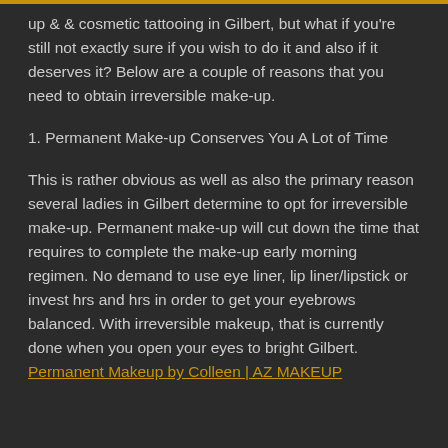up & & cosmetic tattooing in Gilbert, but what if you're still not exactly sure if you wish to do it and also if it deserves it? Below are a couple of reasons that you need to obtain irreversible make-up.
1. Permanent Make-up Conserves You A Lot of Time
This is rather obvious as well as also the primary reason several ladies in Gilbert determine to opt for irreversible make-up. Permanent make-up will cut down the time that requires to complete the make-up early morning regimen. No demand to use eye liner, lip liner/lipstick or invest hrs and hrs in order to get your eyebrows balanced. With irreversible makeup, that is currently done when you open your eyes to bright Gilbert. Permanent Makeup by Colleen | AZ MAKEUP